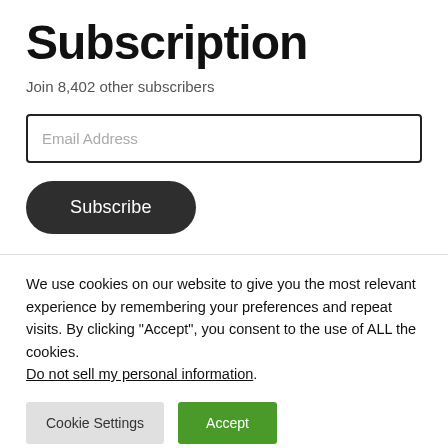Subscription
Join 8,402 other subscribers
Email Address
Subscribe
We use cookies on our website to give you the most relevant experience by remembering your preferences and repeat visits. By clicking “Accept”, you consent to the use of ALL the cookies. Do not sell my personal information.
Cookie Settings
Accept